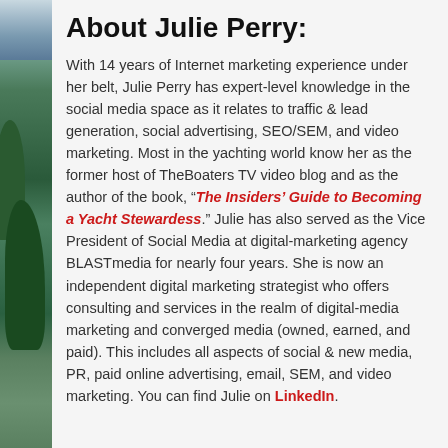About Julie Perry:
With 14 years of Internet marketing experience under her belt, Julie Perry has expert-level knowledge in the social media space as it relates to traffic & lead generation, social advertising, SEO/SEM, and video marketing. Most in the yachting world know her as the former host of TheBoaters TV video blog and as the author of the book, “The Insiders’ Guide to Becoming a Yacht Stewardess.” Julie has also served as the Vice President of Social Media at digital-marketing agency BLASTmedia for nearly four years. She is now an independent digital marketing strategist who offers consulting and services in the realm of digital-media marketing and converged media (owned, earned, and paid). This includes all aspects of social & new media, PR, paid online advertising, email, SEM, and video marketing. You can find Julie on LinkedIn.